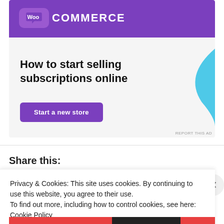[Figure (screenshot): WooCommerce advertisement banner with purple header showing WooCommerce logo, decorative green triangle and blue curved shape, headline text 'How to start selling subscriptions online', and a purple 'Start a new store' CTA button on a light gray background.]
REPORT THIS AD
Share this:
Privacy & Cookies: This site uses cookies. By continuing to use this website, you agree to their use.
To find out more, including how to control cookies, see here: Cookie Policy
Close and accept